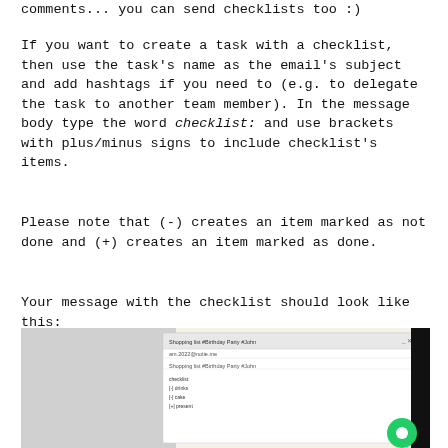comments... you can send checklists too :)
If you want to create a task with a checklist, then use the task's name as the email's subject and add hashtags if you need to (e.g. to delegate the task to another team member). In the message body type the word checklist: and use brackets with plus/minus signs to include checklist's items.
Please note that (-) creates an item marked as not done and (+) creates an item marked as done.
Your message with the checklist should look like this:
[Figure (screenshot): Screenshot of an email composition window showing a checklist email with subject 'Shopping list #Birthday Party #John', addressed to am.2022@notie.me, with body text: checklist: [-] drinks [-] cake [+] present]